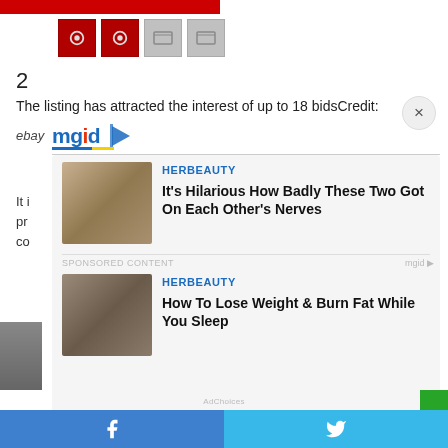[Figure (screenshot): Red product image strip at top]
[Figure (screenshot): Row of thumbnail images including two red squares and two grey card icons]
2
The listing has attracted the interest of up to 18 bidsCredit:
ebay
[Figure (logo): mgid logo with play button icon]
[Figure (screenshot): HERBEAUTY ad card: It's Hilarious How Badly These Two Got On Each Other's Nerves]
SPONSORED CONTENT
[Figure (screenshot): HERBEAUTY ad card: How To Lose Weight & Burn Fat While You Sleep]
[Figure (screenshot): Bottom share bar with Facebook and Twitter icons]